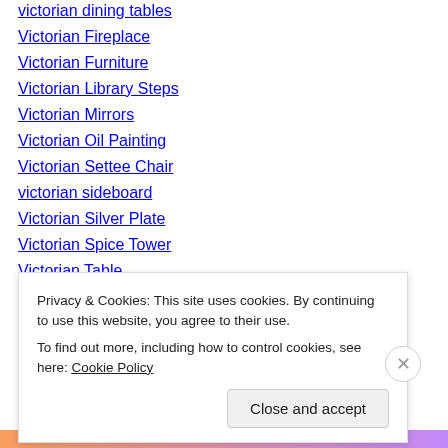victorian dining tables
Victorian Fireplace
Victorian Furniture
Victorian Library Steps
Victorian Mirrors
Victorian Oil Painting
Victorian Settee Chair
victorian sideboard
Victorian Silver Plate
Victorian Spice Tower
Victorian Table
Vienna Bronze
Vinaigrette Box
Vintage Bookcase
Privacy & Cookies: This site uses cookies. By continuing to use this website, you agree to their use.
To find out more, including how to control cookies, see here: Cookie Policy